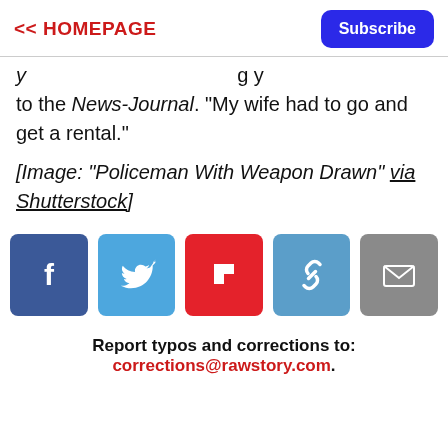<< HOMEPAGE   Subscribe
y ... g y to the News-Journal. "My wife had to go and get a rental."
[Image: "Policeman With Weapon Drawn" via Shutterstock]
[Figure (infographic): Social share buttons: Facebook (blue), Twitter (light blue), Flipboard (red), Link (blue), Email (gray)]
Report typos and corrections to: corrections@rawstory.com.